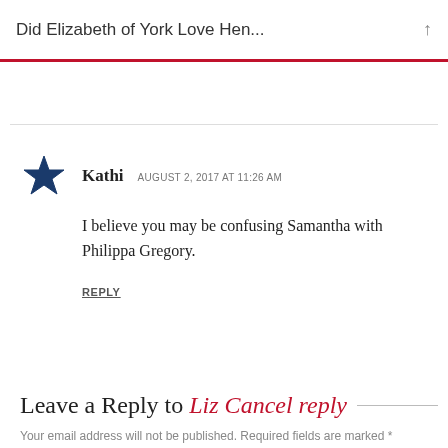Did Elizabeth of York Love Hen...
Kathi  AUGUST 2, 2017 AT 11:26 AM
I believe you may be confusing Samantha with Philippa Gregory.
REPLY
Leave a Reply to Liz Cancel reply
Your email address will not be published. Required fields are marked *